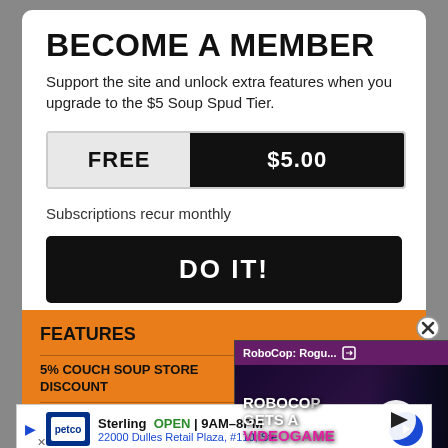BECOME A MEMBER
Support the site and unlock extra features when you upgrade to the $5 Soup Spud Tier.
| FREE | $5.00 |
| --- | --- |
Subscriptions recur monthly
DO IT!
FEATURES
5% COUCH SOUP STORE DISCOUNT
NO ADS
ARTICLE COMMENTING UNLOCKED
[Figure (screenshot): Video thumbnail showing RoboCop: Rogu... with play button overlay, text ROBOCOP GETS A VIDEOGAME]
[Figure (infographic): Ad banner for Petco Sterling store, OPEN 9AM-8PM, 22000 Dulles Retail Plaza, #110, Ste]